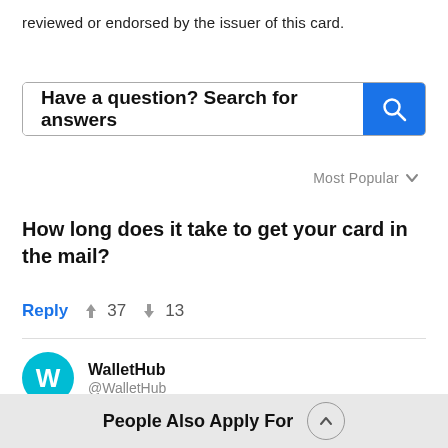reviewed or endorsed by the issuer of this card.
[Figure (screenshot): Search bar with placeholder text 'Have a question? Search for answers' and a blue search button with a magnifying glass icon]
Most Popular
How long does it take to get your card in the mail?
Reply  37  13
WalletHub @WalletHub
Your credit card and welcome materials will be
People Also Apply For